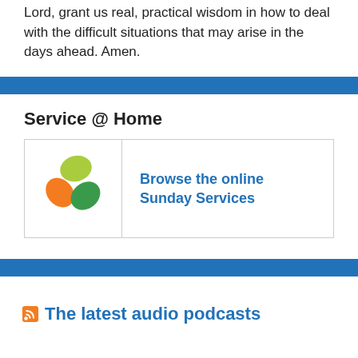Lord, grant us real, practical wisdom in how to deal with the difficult situations that may arise in the days ahead. Amen.
Service @ Home
[Figure (logo): Three overlapping shield/leaf shapes in orange, dark green, and yellow-green forming a circular logo]
Browse the online Sunday Services
The latest audio podcasts